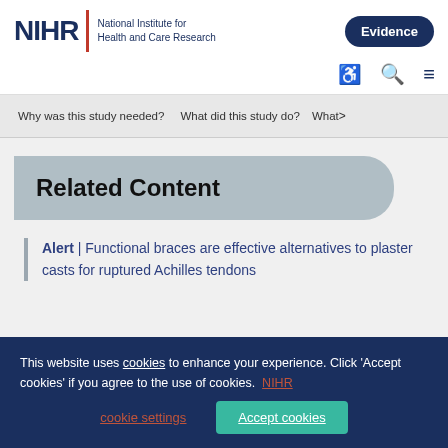NIHR | National Institute for Health and Care Research — Evidence
Why was this study needed? | What did this study do? | What
Related Content
Alert | Functional braces are effective alternatives to plaster casts for ruptured Achilles tendons
This website uses cookies to enhance your experience. Click 'Accept cookies' if you agree to the use of cookies. NIHR cookie settings | Accept cookies